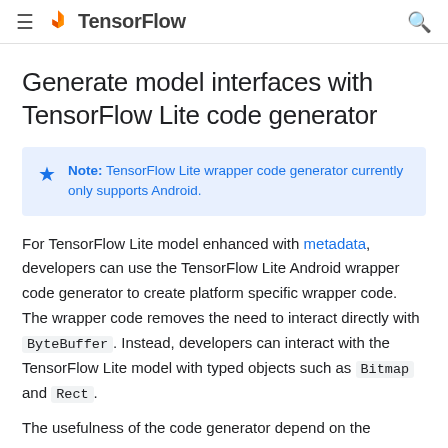≡ TensorFlow 🔍
Generate model interfaces with TensorFlow Lite code generator
Note: TensorFlow Lite wrapper code generator currently only supports Android.
For TensorFlow Lite model enhanced with metadata, developers can use the TensorFlow Lite Android wrapper code generator to create platform specific wrapper code. The wrapper code removes the need to interact directly with ByteBuffer. Instead, developers can interact with the TensorFlow Lite model with typed objects such as Bitmap and Rect.
The usefulness of the code generator depend on the